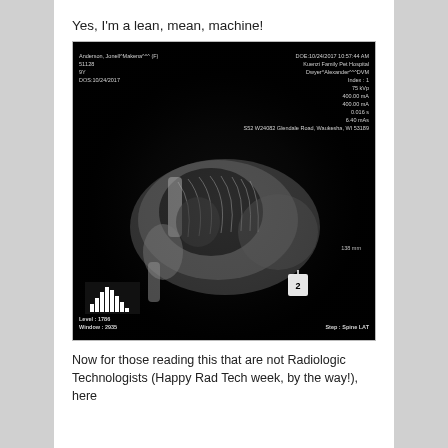Yes, I'm a lean, mean, machine!
[Figure (photo): Lateral spine X-ray of a dog (Makena, Anderson Jonell). Patient info: Anderson, Jonell^Makena^^^ (F), 51128, 9Y, DOS: 10/24/2017. DOE: 10/24/2017 10:57:44 AM. Kuenzi Family Pet Hospital. Dwyer^Alexander^^^DVM. Index: 1, 75 kVp, 400.00 mA, 400.00 mA, 0.016 s, 6.40 mAs. S52 W24082 Glendale Road, Waukesha, WI 53189. Level: 1786, Window: 2935. Step: Spine LAT. 138 mm scale marker.]
Now for those reading this that are not Radiologic Technologists (Happy Rad Tech week, by the way!), here